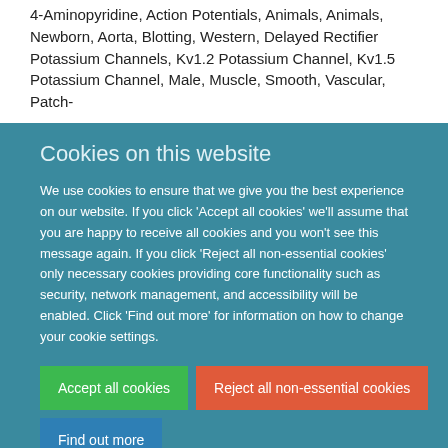4-Aminopyridine, Action Potentials, Animals, Animals, Newborn, Aorta, Blotting, Western, Delayed Rectifier Potassium Channels, Kv1.2 Potassium Channel, Kv1.5 Potassium Channel, Male, Muscle, Smooth, Vascular, Patch-
Cookies on this website
We use cookies to ensure that we give you the best experience on our website. If you click 'Accept all cookies' we'll assume that you are happy to receive all cookies and you won't see this message again. If you click 'Reject all non-essential cookies' only necessary cookies providing core functionality such as security, network management, and accessibility will be enabled. Click 'Find out more' for information on how to change your cookie settings.